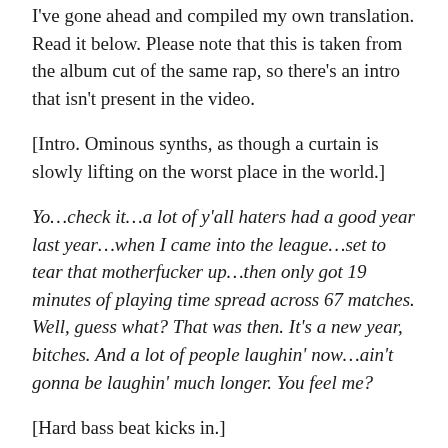I've gone ahead and compiled my own translation. Read it below. Please note that this is taken from the album cut of the same rap, so there's an intro that isn't present in the video.
[Intro. Ominous synths, as though a curtain is slowly lifting on the worst place in the world.]
Yo…check it…a lot of y'all haters had a good year last year…when I came into the league…set to tear that motherfucker up…then only got 19 minutes of playing time spread across 67 matches. Well, guess what? That was then. It's a new year, bitches. And a lot of people laughin' now…ain't gonna be laughin' much longer. You feel me?
[Hard bass beat kicks in.]